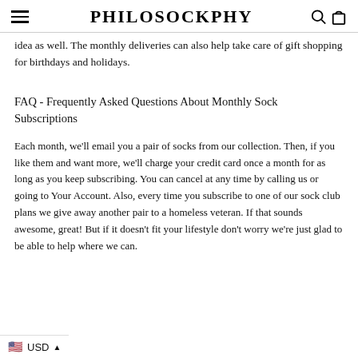PHILOSOCKPHY
idea as well. The monthly deliveries can also help take care of gift shopping for birthdays and holidays.
FAQ - Frequently Asked Questions About Monthly Sock Subscriptions
Each month, we’ll email you a pair of socks from our collection. Then, if you like them and want more, we’ll charge your credit card once a month for as long as you keep subscribing. You can cancel at any time by calling us or going to Your Account. Also, every time you subscribe to one of our sock club plans we give away another pair to a homeless veteran. If that sounds awesome, great! But if it doesn't fit your lifestyle don't worry we're just glad to be able to help where we can.
USD